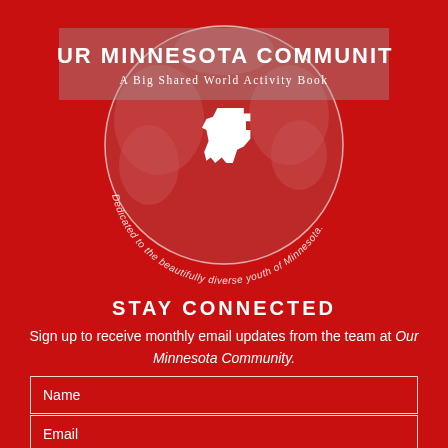[Figure (logo): Circular globe logo with white Minnesota state silhouette in center, curved text reading 'Dedicated to the beautifully diverse youth of Minnesota.' around the bottom arc. Above globe: semi-transparent gray banner with 'OUR MINNESOTA COMMUNITY' in bold white uppercase and 'A Big Shared World Activity Book' in white serif italic below.]
OUR MINNESOTA COMMUNITY
A Big Shared World Activity Book
STAY CONNECTED
Sign up to receive monthly email updates from the team at Our Minnesota Community.
Name
Email